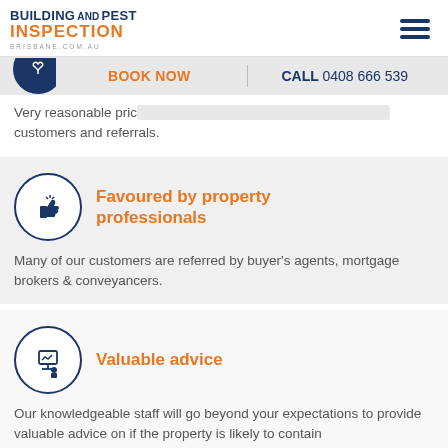BUILDING AND PEST INSPECTION BRISBANE.COM.AU
BOOK NOW   CALL 0408 666 539
Very reasonable prices keep us constantly in demand with new customers and referrals.
Favoured by property professionals
Many of our customers are referred by buyer's agents, mortgage brokers & conveyancers.
Valuable advice
Our knowledgeable staff will go beyond your expectations to provide valuable advice on if the property is likely to contain